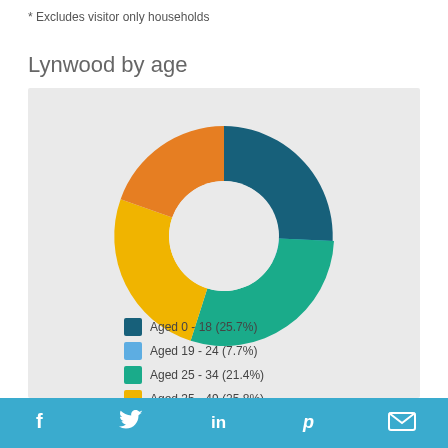* Excludes visitor only households
Lynwood by age
[Figure (donut-chart): Lynwood by age]
Social media icons: Facebook, Twitter, LinkedIn, Pinterest, Email